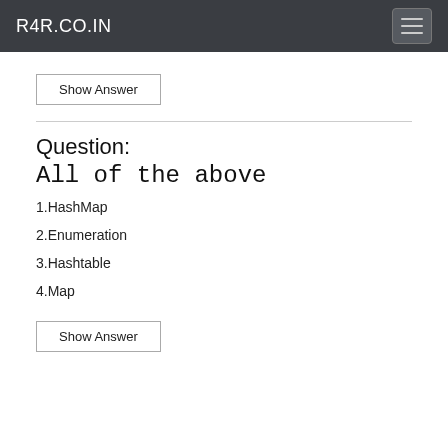R4R.CO.IN
Show Answer
Question: All of the above
1.HashMap
2.Enumeration
3.Hashtable
4.Map
Show Answer